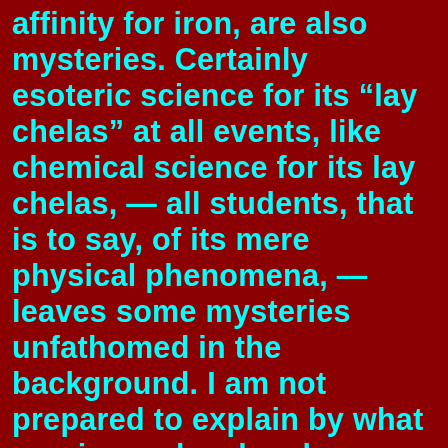affinity for iron, are also mysteries. Certainly esoteric science for its “lay chelas” at all events, like chemical science for its lay chelas, — all students, that is to say, of its mere physical phenomena, — leaves some mysteries unfathomed in the background. I am not prepared to explain by what precise molecular changes the higher affinities which constitute Karma are stored up in the permanent elements of the fifth principle. But no more is ordinary science qualified to say what it is in a